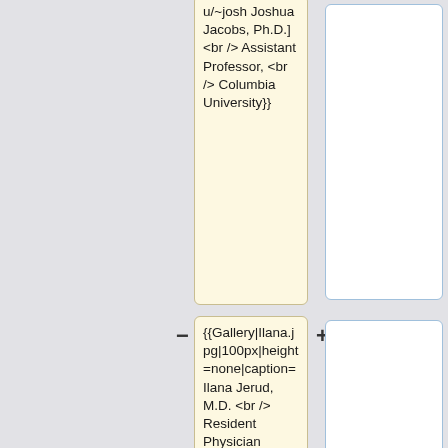u/~josh Joshua Jacobs, Ph.D.] <br /> Assistant Professor, <br /> Columbia University}}
{{Gallery|Ilana.jpg|100px|height=none|caption=Ilana Jerud, M.D. <br /> Resident Physician (Psychiatry), <br /> Mount Sinai Hospital}}
{{Gallery|Person-placeholder.png|100px|height=none|caption=Pauline T.